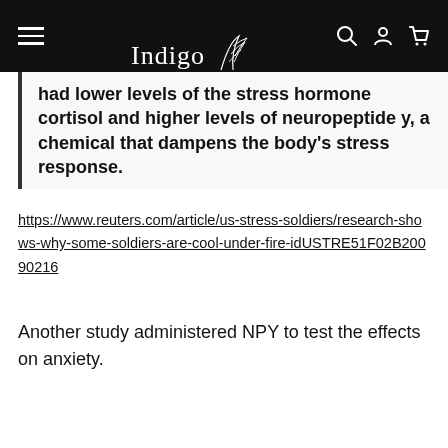Indigo Naturals
had lower levels of the stress hormone cortisol and higher levels of neuropeptide y, a chemical that dampens the body’s stress response.
https://www.reuters.com/article/us-stress-soldiers/research-shows-why-some-soldiers-are-cool-under-fire-idUSTRE51F02B20090216
Another study administered NPY to test the effects on anxiety.